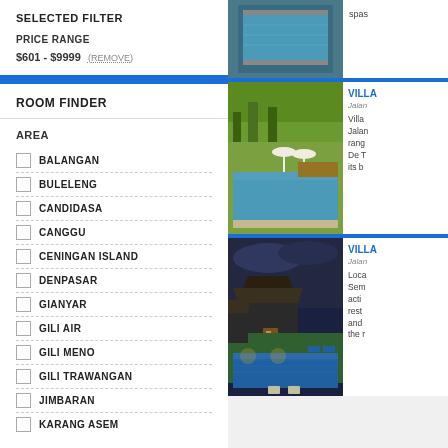SELECTED FILTER
PRICE RANGE
$601 - $9999 (REMOVE)
ROOM FINDER
AREA
BALANGAN
BULELENG
CANDIDASA
CANGGU
CENINGAN ISLAND
DENPASAR
GIANYAR
GILI AIR
GILI MENO
GILI TRAWANGAN
JIMBARAN
KARANG ASEM
[Figure (photo): Pool side view from above]
spas
[Figure (photo): Villa with swimming pool and rice field view]
VILL
Jalan
Villa Jalan rang De T its b
[Figure (photo): Night view of villa with illuminated pool]
VILL
Jalan
Loca Sem acti rest and the r